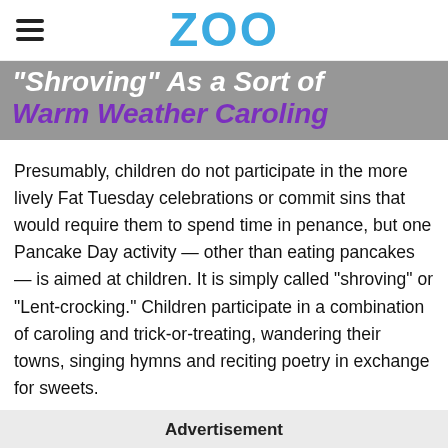ZOO
"Shroving" As a Sort of Warm Weather Caroling
Presumably, children do not participate in the more lively Fat Tuesday celebrations or commit sins that would require them to spend time in penance, but one Pancake Day activity — other than eating pancakes — is aimed at children. It is simply called "shroving" or "Lent-crocking." Children participate in a combination of caroling and trick-or-treating, wandering their towns, singing hymns and reciting poetry in exchange for sweets.
[Figure (other): Thumbs up (green) and thumbs down (red) feedback buttons on a rounded gray pill-shaped background]
Advertisement